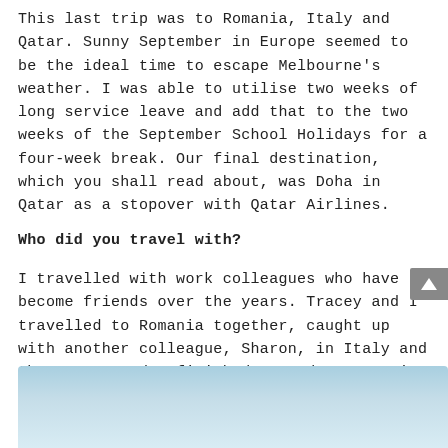This last trip was to Romania, Italy and Qatar. Sunny September in Europe seemed to be the ideal time to escape Melbourne's weather. I was able to utilise two weeks of long service leave and add that to the two weeks of the September School Holidays for a four-week break. Our final destination, which you shall read about, was Doha in Qatar as a stopover with Qatar Airlines.
Who did you travel with?
I travelled with work colleagues who have become friends over the years. Tracey and I travelled to Romania together, caught up with another colleague, Sharon, in Italy and then Trace and I finished our adventures in Doha, Qatar.
[Figure (photo): Blue sky photograph, partially visible at the bottom of the page]